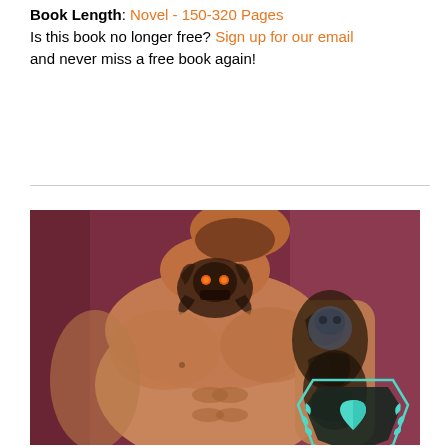Book Length: Novel - 150-320 Pages
Is this book no longer free? Sign up for our email and never miss a free book again!
[Figure (photo): A heavily tattooed muscular shirtless man with neck tattoo of a skull with orange eyes, sleeve tattoo on arm, against a dark red/maroon background. A 'Love 101' logo with a teal heart inside a shield with laurel is visible in the bottom right corner.]